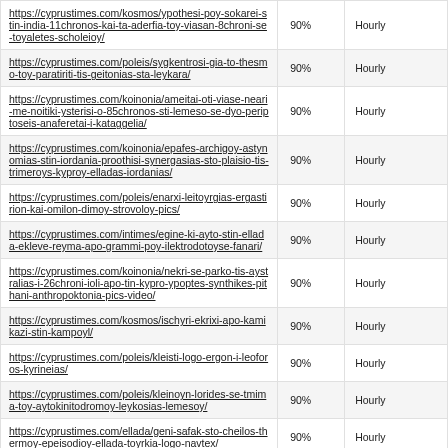| URL | Priority | Change Frequency |
| --- | --- | --- |
| https://cyprustimes.com/kosmos/ypothesi-poy-sokarei-stin-india-11chronos-kai-ta-aderfia-toy-viasan-8chroni-se-toyaletes-scholeioy/ | 90% | Hourly |
| https://cyprustimes.com/poleis/sygkentrosi-gia-to-thesmo-toy-paratiriti-tis-geitonias-sta-leykara/ | 90% | Hourly |
| https://cyprustimes.com/koinonia/ameitai-oti-viase-neari-me-noitiki-ysterisi-o-85chronos-sti-lemeso-se-dyo-periptoseis-anaferetai-i-kataggelia/ | 90% | Hourly |
| https://cyprustimes.com/koinonia/epafes-archigoy-astynomias-stin-iordania-proothisi-synergasias-sto-plaisio-tis-trimeroys-kyproy-elladas-iordanias/ | 90% | Hourly |
| https://cyprustimes.com/poleis/enarxi-leitoyrgias-ergastirion-kai-omilon-dimoy-strovoloy-pics/ | 90% | Hourly |
| https://cyprustimes.com/intimes/egine-ki-ayto-stin-ellada-ekleve-reyma-apo-grammi-poy-ilektrodotoyse-fanari/ | 90% | Hourly |
| https://cyprustimes.com/koinonia/nekri-se-parko-tis-aystralias-i-26chroni-ioli-apo-tin-kypro-ypoptes-synthikes-pithani-anthropoktonia-pics-video/ | 90% | Hourly |
| https://cyprustimes.com/kosmos/ischyri-ekrixi-apo-kamikazi-stin-kampoyl/ | 90% | Hourly |
| https://cyprustimes.com/poleis/kleisti-logo-ergon-i-leoforos-kyrineias/ | 90% | Hourly |
| https://cyprustimes.com/poleis/kleinoyn-lorides-se-tmima-toy-aytokinitodromoy-leykosias-lemesoy/ | 90% | Hourly |
| https://cyprustimes.com/ellada/geni-safak-sto-cheilos-thermoy-epeisodioy-ellada-toyrkia-logo-navtex/ | 90% | Hourly |